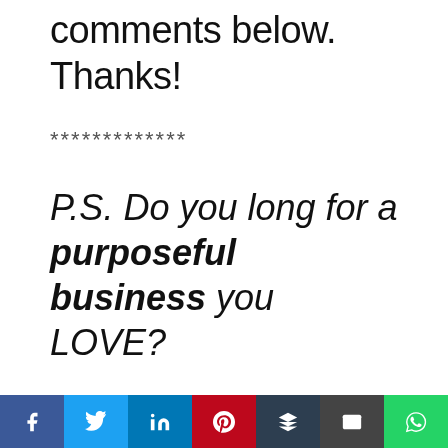comments below. Thanks!
*************
P.S. Do you long for a purposeful business you LOVE?
Social share bar: Facebook, Twitter, LinkedIn, Pinterest, Buffer, Email, WhatsApp